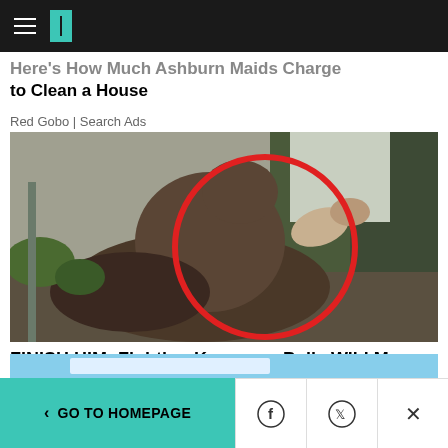HuffPost header with hamburger menu and logo
Here's How Much Ashburn Maids Charge to Clean a House
Red Gobo | Search Ads
[Figure (photo): A kangaroo performing a fighting move, with a red circle highlighting the action, trees in background]
FINISH HIM: Fighting Kangaroo Pulls Wild Move Right Out Of A Video Game
HuffPost
< GO TO HOMEPAGE | Facebook share | Twitter share | Close